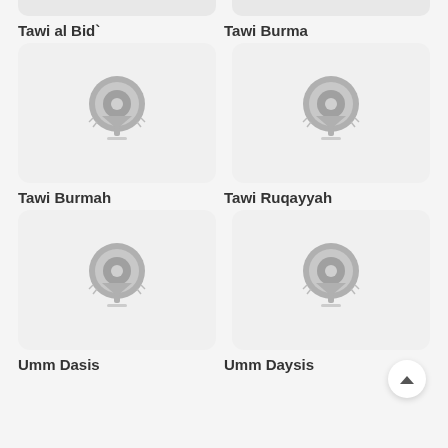[Figure (screenshot): Partial top strip from previous cards (Tawi al Bid and Tawi Burma top portions)]
Tawi al Bid`
Tawi Burma
[Figure (illustration): Location pin icon placeholder for Tawi Burmah]
[Figure (illustration): Location pin icon placeholder for Tawi Ruqayyah]
Tawi Burmah
Tawi Ruqayyah
[Figure (illustration): Location pin icon placeholder for Umm Dasis]
[Figure (illustration): Location pin icon placeholder for Umm Daysis]
Umm Dasis
Umm Daysis